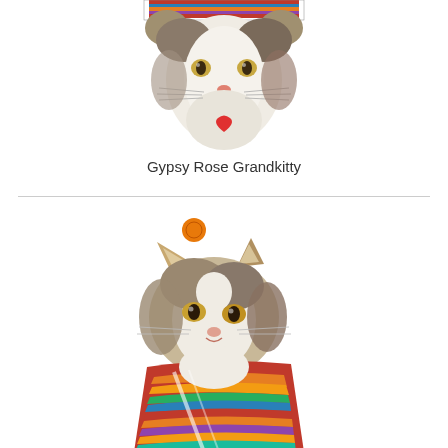[Figure (illustration): Watercolor illustration of a gray and white cat face wearing a colorful striped hat, with a red heart pendant, looking directly at the viewer.]
Gypsy Rose Grandkitty
[Figure (illustration): Watercolor illustration of a gray and white cat wearing a colorful red, orange, yellow and striped blanket or serape, with an orange circular tag above, looking at the viewer.]